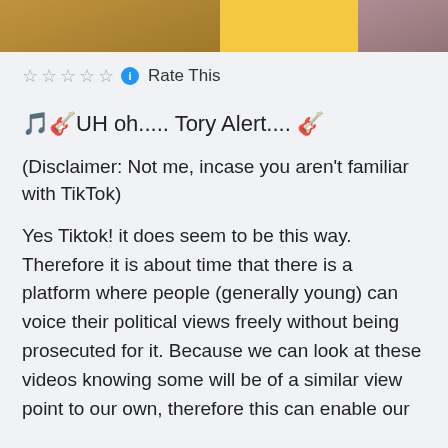[Figure (photo): Banner image with yellow/orange background and photo thumbnails on left and right sides]
☆☆☆☆☆ ℹ Rate This
🎵🎸UH oh..... Tory Alert.... 🎸
(Disclaimer: Not me, incase you aren't familiar with TikTok)
Yes Tiktok! it does seem to be this way. Therefore it is about time that there is a platform where people (generally young) can voice their political views freely without being prosecuted for it. Because we can look at these videos knowing some will be of a similar view point to our own, therefore this can enable our